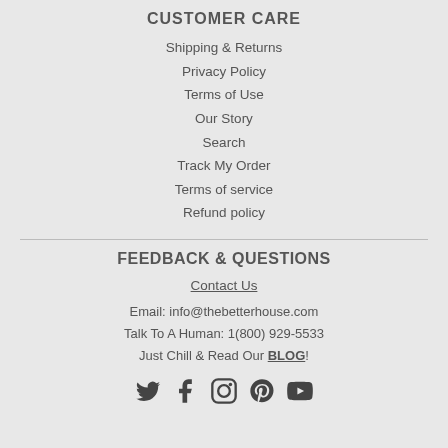CUSTOMER CARE
Shipping & Returns
Privacy Policy
Terms of Use
Our Story
Search
Track My Order
Terms of service
Refund policy
FEEDBACK & QUESTIONS
Contact Us
Email: info@thebetterhouse.com
Talk To A Human: 1(800) 929-5533
Just Chill & Read Our BLOG!
[Figure (illustration): Social media icons: Twitter, Facebook, Instagram, Pinterest, YouTube]